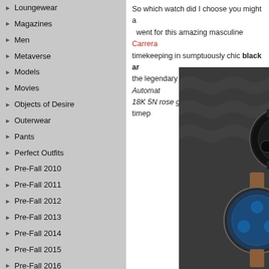Loungewear
Magazines
Men
Metaverse
Models
Movies
Objects of Desire
Outerwear
Pants
Perfect Outfits
Pre-Fall 2010
Pre-Fall 2011
Pre-Fall 2012
Pre-Fall 2013
Pre-Fall 2014
Pre-Fall 2015
Pre-Fall 2016
Pre-Fall 2017
Pre-Fall 2018
Pre-fall 2019
Pre-fall 2020
Pre-Fall 2021
Pre-Fall 2022
So which watch did I choose you might a... went for this amazing masculine Carrera timekeeping in sumptuously chic black ar... the legendary Calibre HEUER02 Automat... 18K 5N rose gold accents the entire time...
[Figure (photo): Two luxury watches displayed in a dark foam watch box, one with a dark dial and one with a blue dial with a brown leather strap]